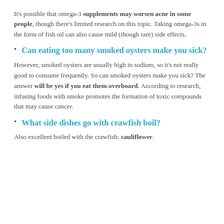It's possible that omega-3 supplements may worsen acne in some people, though there's limited research on this topic. Taking omega-3s in the form of fish oil can also cause mild (though rare) side effects.
Can eating too many smoked oysters make you sick?
However, smoked oysters are usually high in sodium, so it's not really good to consume frequently. So can smoked oysters make you sick? The answer will be yes if you eat them overboard. According to research, infusing foods with smoke promotes the formation of toxic compounds that may cause cancer.
What side dishes go with crawfish boil?
Also excellent boiled with the crawfish: cauliflower.